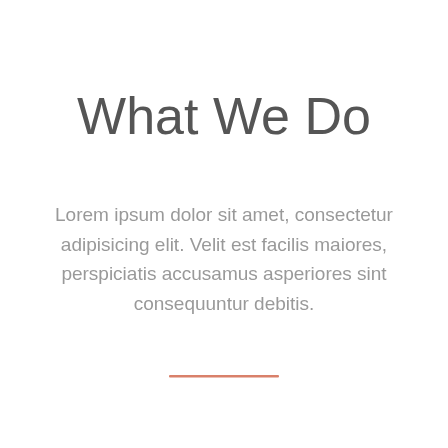What We Do
Lorem ipsum dolor sit amet, consectetur adipisicing elit. Velit est facilis maiores, perspiciatis accusamus asperiores sint consequuntur debitis.
[Figure (other): Horizontal salmon/coral colored decorative divider line]